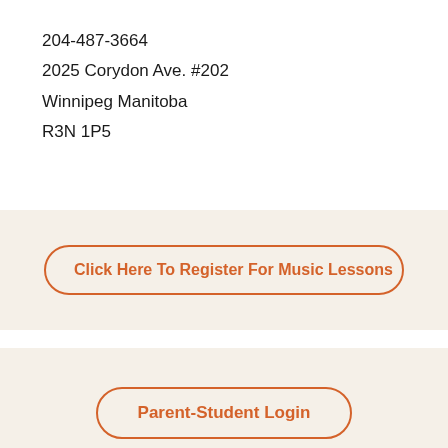204-487-3664
2025 Corydon Ave. #202
Winnipeg Manitoba
R3N 1P5
Click Here To Register For Music Lessons
Parent-Student Login